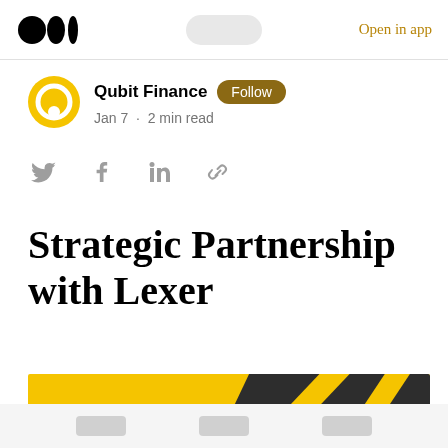Open in app
Qubit Finance · Follow · Jan 7 · 2 min read
Strategic Partnership with Lexer
[Figure (illustration): Yellow banner image with dark diagonal stripe pattern and bold text reading 'A GAME CHANGER']
Bottom navigation bar with three tab buttons